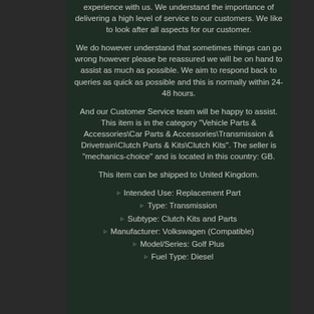experience with us. We understand the importance of delivering a high level of service to our customers. We like to look after all aspects for our customer.
We do however understand that sometimes things can go wrong however please be reassured we will be on hand to assist as much as possible. We aim to respond back to queries as quick as possible and this is normally within 24-48 hours.
And our Customer Service team will be happy to assist. This item is in the category "Vehicle Parts & Accessories\Car Parts & Accessories\Transmission & Drivetrain\Clutch Parts & Kits\Clutch Kits". The seller is "mechanics-choice" and is located in this country: GB.
This item can be shipped to United Kingdom.
Intended Use: Replacement Part
Type: Transmission
Subtype: Clutch Kits and Parts
Manufacturer: Volkswagen (Compatible)
Model/Series: Golf Plus
Fuel Type: Diesel